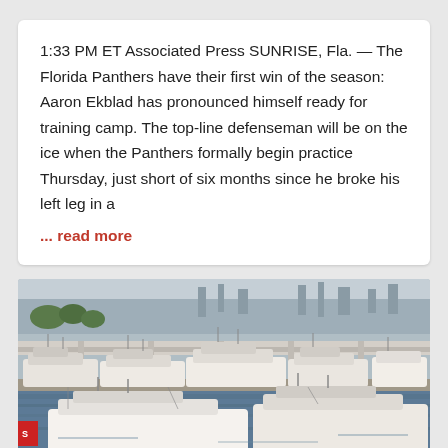1:33 PM ET Associated Press SUNRISE, Fla. — The Florida Panthers have their first win of the season: Aaron Ekblad has pronounced himself ready for training camp. The top-line defenseman will be on the ice when the Panthers formally begin practice Thursday, just short of six months since he broke his left leg in a
... read more
[Figure (photo): Aerial view of a marina with numerous large white yachts and boats moored at docks, with a bridge and port facilities visible in the background.]